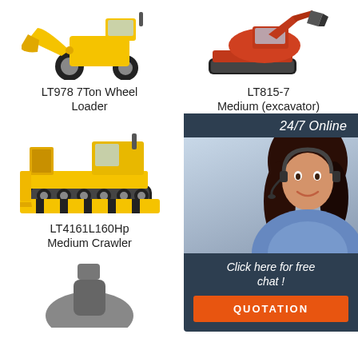[Figure (illustration): LT978 7Ton Wheel Loader — yellow front-end wheel loader facing left]
LT978 7Ton Wheel Loader
[Figure (illustration): LT815-7 Medium (excavator) — orange/red crawler excavator facing left, partially covered by chat overlay]
LT815-7 Medium (excavator)
[Figure (illustration): Chat overlay: 24/7 Online, female agent with headset, Click here for free chat!, QUOTATION button]
[Figure (illustration): LT4161L160Hp Medium Crawler — yellow crawler dozer/bulldozer]
LT4161L160Hp Medium Crawler
[Figure (illustration): LT530T 3 Ton Small Lpg Forklift Truck — yellow forklift truck]
LT530T 3 Ton Small Lpg Forklift Truck
[Figure (illustration): Partial image of another machine at bottom left]
[Figure (illustration): Partial image of another machine at bottom right]